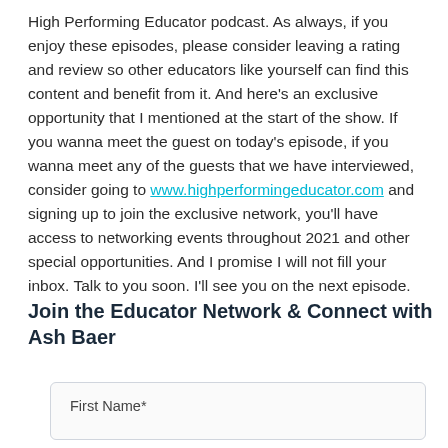High Performing Educator podcast. As always, if you enjoy these episodes, please consider leaving a rating and review so other educators like yourself can find this content and benefit from it. And here's an exclusive opportunity that I mentioned at the start of the show. If you wanna meet the guest on today's episode, if you wanna meet any of the guests that we have interviewed, consider going to www.highperformingeducator.com and signing up to join the exclusive network, you'll have access to networking events throughout 2021 and other special opportunities. And I promise I will not fill your inbox. Talk to you soon. I'll see you on the next episode.
Join the Educator Network & Connect with Ash Baer
First Name*